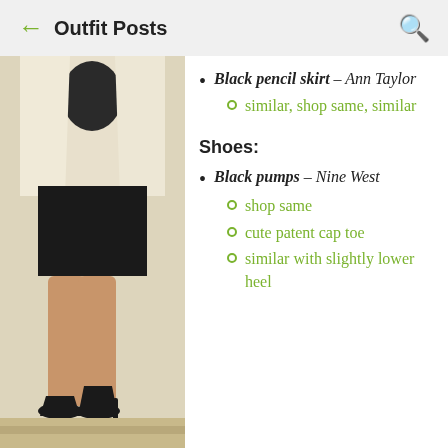← Outfit Posts 🔍
[Figure (photo): Fashion photo showing woman's lower body wearing a black pencil skirt, cream/white jacket, and black high heel pumps]
Black pencil skirt – Ann Taylor
similar, shop same, similar
Shoes:
Black pumps – Nine West
shop same
cute patent cap toe
similar with slightly lower heel